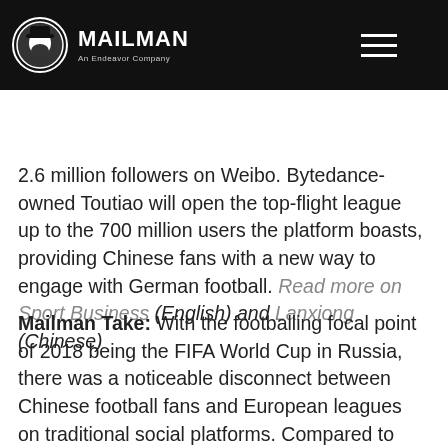MAILMAN — An Endeavor Company
2.6 million followers on Weibo. Bytedance-owned Toutiao will open the top-flight league up to the 700 million users the platform boasts, providing Chinese fans with a new way to engage with German football. Read more on Sport Business (English) and Lanxiong (Chinese)
Mailman Take: With the footballing focal point of 2018 being the FIFA World Cup in Russia, there was a noticeable disconnect between Chinese football fans and European leagues on traditional social platforms. Compared to the growth of clubs and players, leagues struggled to grow across key performance indicators,